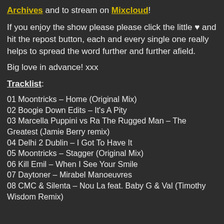Archives and to stream on Mixcloud!
If you enjoy the show please please click the little ♥ and hit the repost button, each and every single one really helps to spread the word further and further afield.
Big love in advance! xxx
Tracklist:
01 Moontricks – Home (Original Mix)
02 Boogie Down Edits – It's A Pity
03 Marcella Puppini vs Ra The Rugged Man – The Greatest (Jamie Berry remix)
04 Delhi 2 Dublin – I Got To Have It
05 Moontricks – Stagger (Original Mix)
06 Kill Emil – When I See Your Smile
07 Daytoner – Mirabel Manoeuvres
08 CMC & Silenta – Nou La feat. Baby G & Val (Timothy Wisdom Remix)